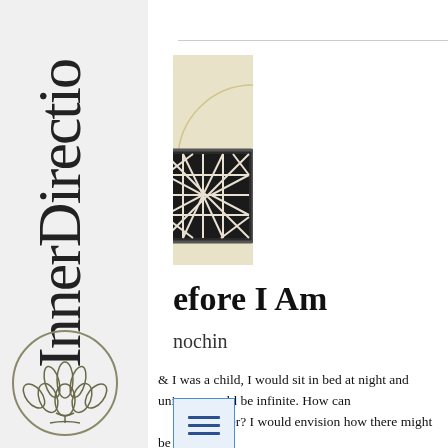InnerDirection
[Figure (illustration): Book cover image showing a cream/tan vertical strip with a decorative Celtic knot square ornament overlaid, and a partial circular design]
efore I Am
nochin
I was a child, I would sit in bed at night and universe could be infinite. How can ver? I would envision how there might be a ore the universe would end, but then I would
[Figure (illustration): Hamburger/menu icon inside a blue-bordered box]
[Figure (logo): Lotus flower logo in circular border, grey/olive tones, bottom left of sidebar]